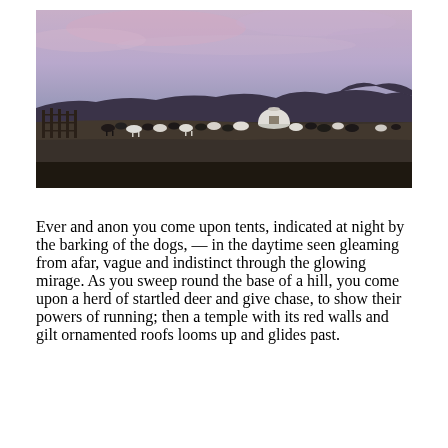[Figure (photo): Twilight landscape photograph showing a vast open steppe or grassland under a purple-pink sky. In the middle distance, a white yurt (ger) is visible, surrounded by a herd of cattle and horses grazing. Mountains silhouette the horizon. On the left, wooden fence posts are visible.]
Ever and anon you come upon tents, indicated at night by the barking of the dogs, — in the daytime seen gleaming from afar, vague and indistinct through the glowing mirage. As you sweep round the base of a hill, you come upon a herd of startled deer and give chase, to show their powers of running; then a temple with its red walls and gilt ornamented roofs looms up and glides past.